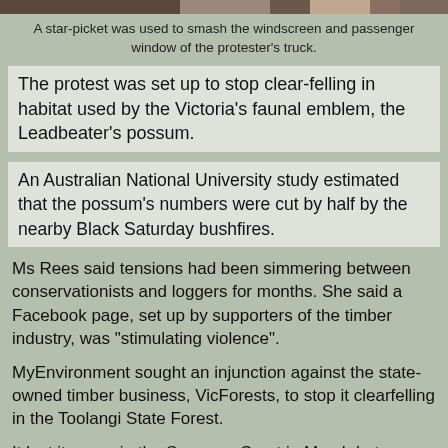[Figure (photo): Partial photo of a truck windscreen/window, cropped at top of page]
A star-picket was used to smash the windscreen and passenger window of the protester's truck.
The protest was set up to stop clear-felling in habitat used by the Victoria's faunal emblem, the Leadbeater's possum.
An Australian National University study estimated that the possum's numbers were cut by half by the nearby Black Saturday bushfires.
Ms Rees said tensions had been simmering between conservationists and loggers for months. She said a Facebook page, set up by supporters of the timber industry, was "stimulating violence".
MyEnvironment sought an injunction against the state-owned timber business, VicForests, to stop it clearfelling in the Toolangi State Forest.
It lost its case in the Supreme Court in March but yesterday the group lodged a Court of Appeal challenge to the decision.